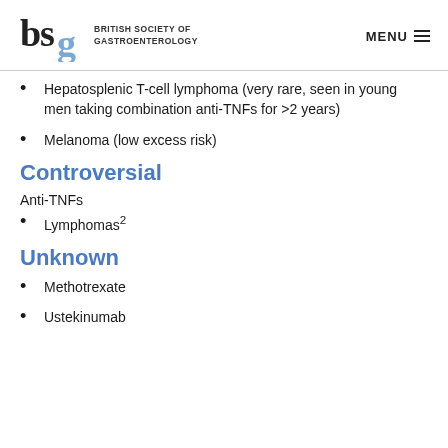BRITISH SOCIETY OF GASTROENTEROLOGY | MENU
Hepatosplenic T-cell lymphoma (very rare, seen in young men taking combination anti-TNFs for >2 years)
Melanoma (low excess risk)
Controversial
Anti-TNFs
Lymphomas²
Unknown
Methotrexate
Ustekinumab